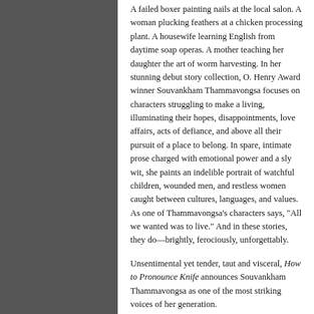A failed boxer painting nails at the local salon. A woman plucking feathers at a chicken processing plant. A housewife learning English from daytime soap operas. A mother teaching her daughter the art of worm harvesting. In her stunning debut story collection, O. Henry Award winner Souvankham Thammavongsa focuses on characters struggling to make a living, illuminating their hopes, disappointments, love affairs, acts of defiance, and above all their pursuit of a place to belong. In spare, intimate prose charged with emotional power and a sly wit, she paints an indelible portrait of watchful children, wounded men, and restless women caught between cultures, languages, and values. As one of Thammavongsa's characters says, "All we wanted was to live." And in these stories, they do—brightly, ferociously, unforgettably.
Unsentimental yet tender, taut and visceral, How to Pronounce Knife announces Souvankham Thammavongsa as one of the most striking voices of her generation.